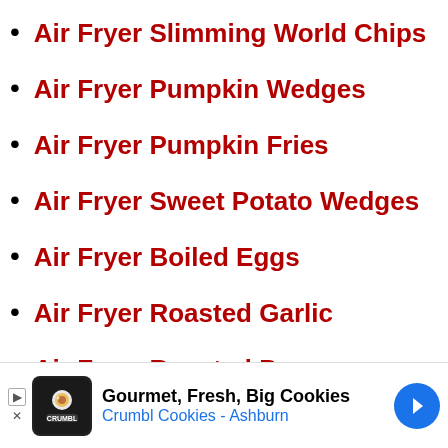Air Fryer Slimming World Chips
Air Fryer Pumpkin Wedges
Air Fryer Pumpkin Fries
Air Fryer Sweet Potato Wedges
Air Fryer Boiled Eggs
Air Fryer Roasted Garlic
Air Fryer Roasted Peppers
Air Fryer Grilled Tomatoes
Air Fryer Apple Chips
Air Fryer Brussel Sprouts With Bacon
Air Fryer Vegan Veggie Balls
Air Fryer Thai Bites
Air Fryer Cheesy Chicken Dippers
Air Fryer Carrot Fritters
Air Fryer Syn Free Veggie Pizza Slices
[Figure (other): Advertisement banner for Crumbl Cookies - Ashburn: Gourmet, Fresh, Big Cookies]